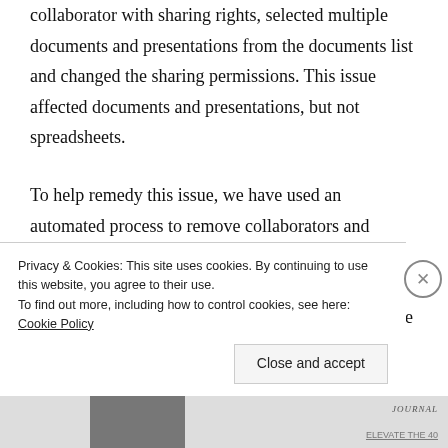collaborator with sharing rights, selected multiple documents and presentations from the documents list and changed the sharing permissions. This issue affected documents and presentations, but not spreadsheets.
To help remedy this issue, we have used an automated process to remove collaborators and viewers from the documents that we identified as being affected. Since the impacted documents are now accessible only to you, you will need to re-share the documents manually. For your reference, we've listed below the documents
Privacy & Cookies: This site uses cookies. By continuing to use this website, you agree to their use.
To find out more, including how to control cookies, see here: Cookie Policy
Close and accept